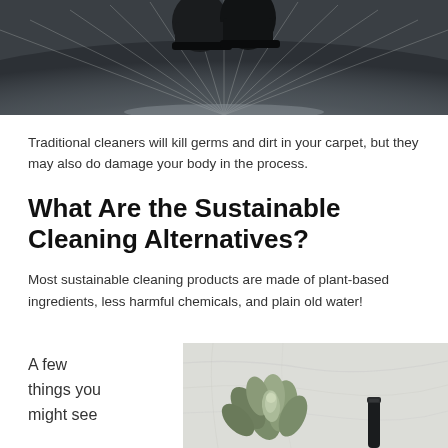[Figure (photo): Dark moody photo of boots/shoes on a wet floor or carpet with light rays spreading outward, grayscale/desaturated tones]
Traditional cleaners will kill germs and dirt in your carpet, but they may also do damage your body in the process.
What Are the Sustainable Cleaning Alternatives?
Most sustainable cleaning products are made of plant-based ingredients, less harmful chemicals, and plain old water!
A few things you might see
[Figure (photo): Photo of green succulent plant and a dark object (possibly a brush or tool) on a light marble or textured white background]